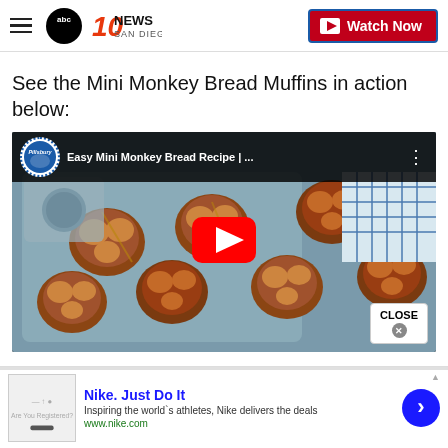ABC 10 News San Diego | Watch Now
See the Mini Monkey Bread Muffins in action below:
[Figure (screenshot): YouTube video thumbnail for 'Easy Mini Monkey Bread Recipe' by Pillsbury, showing mini monkey bread muffins on a baking tray, with a red YouTube play button overlay and a CLOSE button in the bottom right corner.]
[Figure (screenshot): Nike advertisement banner: 'Nike. Just Do It' — Inspiring the world's athletes, Nike delivers the deals. www.nike.com]